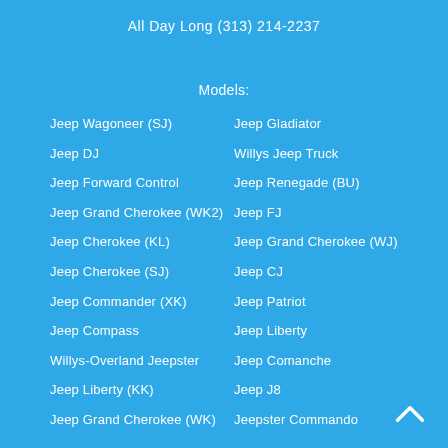All Day Long (313) 214-2237
Models:
Jeep Wagoneer (SJ)
Jeep DJ
Jeep Forward Control
Jeep Grand Cherokee (WK2)
Jeep Cherokee (KL)
Jeep Cherokee (SJ)
Jeep Commander (XK)
Jeep Compass
Willys-Overland Jeepster
Jeep Liberty (KK)
Jeep Grand Cherokee (WK)
Jeep Gladiator
Willys Jeep Truck
Jeep Renegade (BU)
Jeep FJ
Jeep Grand Cherokee (WJ)
Jeep CJ
Jeep Patriot
Jeep Liberty
Jeep Comanche
Jeep J8
Jeepster Commando